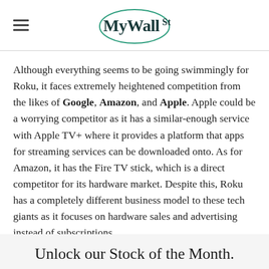MyWallSt
Although everything seems to be going swimmingly for Roku, it faces extremely heightened competition from the likes of Google, Amazon, and Apple. Apple could be a worrying competitor as it has a similar-enough service with Apple TV+ where it provides a platform that apps for streaming services can be downloaded onto. As for Amazon, it has the Fire TV stick, which is a direct competitor for its hardware market. Despite this, Roku has a completely different business model to these tech giants as it focuses on hardware sales and advertising instead of subscriptions.
Unlock our Stock of the Month.